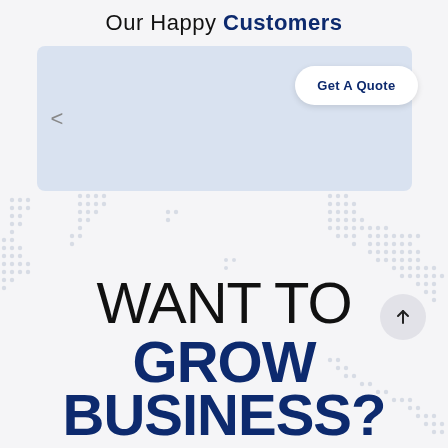Our Happy Customers
[Figure (screenshot): A light blue carousel/testimonial box with a left-arrow navigation control and a 'Get A Quote' button overlay on the right side.]
Get A Quote
[Figure (illustration): Decorative dot pattern background in light grey/blue tones scattered across the section.]
WANT TO GROW BUSINESS?